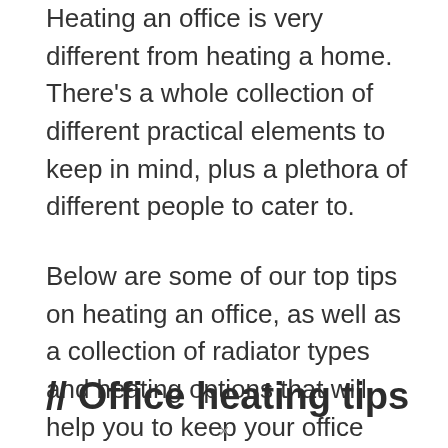Heating an office is very different from heating a home. There's a whole collection of different practical elements to keep in mind, plus a plethora of different people to cater to.
Below are some of our top tips on heating an office, as well as a collection of radiator types and heating options that will help you to keep your office comfortable and your employees happy. Moreover, you can check out this page for the best designer radiators.
// Office heating tips